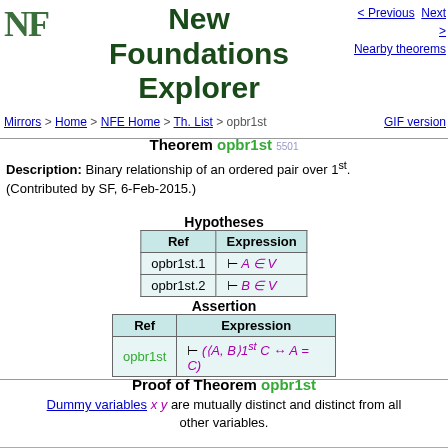New Foundations Explorer
< Previous  Next >  Nearby theorems
Mirrors > Home > NFE Home > Th. List > opbr1st   GIF version
Theorem opbr1st 5501
Description: Binary relationship of an ordered pair over 1st. (Contributed by SF, 6-Feb-2015.)
Hypotheses
| Ref | Expression |
| --- | --- |
| opbr1st.1 | ⊢ A ∈ V |
| opbr1st.2 | ⊢ B ∈ V |
Assertion
| Ref | Expression |
| --- | --- |
| opbr1st | ⊢ (⟨A, B⟩1st C ↔ A = C) |
Proof of Theorem opbr1st
Dummy variables x y are mutually distinct and distinct from all other variables.